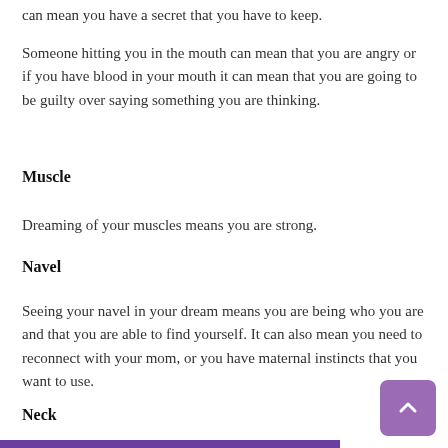can mean you have a secret that you have to keep.
Someone hitting you in the mouth can mean that you are angry or if you have blood in your mouth it can mean that you are going to be guilty over saying something you are thinking.
Muscle
Dreaming of your muscles means you are strong.
Navel
Seeing your navel in your dream means you are being who you are and that you are able to find yourself. It can also mean you need to reconnect with your mom, or you have maternal instincts that you want to use.
Neck
A neck in our dream can mean that you have strong willpower and you need to control your feelings better.